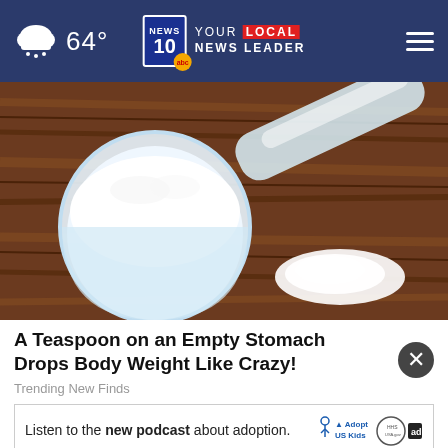64° | NEWS 10 YOUR LOCAL NEWS LEADER
[Figure (photo): A white measuring scoop filled with white powder (protein powder or similar supplement) sitting on a rustic wooden surface with some powder spilled beside it]
A Teaspoon on an Empty Stomach Drops Body Weight Like Crazy!
Trending New Finds
Listen to the new podcast about adoption.
[Figure (logo): Adopt US Kids logo and HHS logo and ad badge]